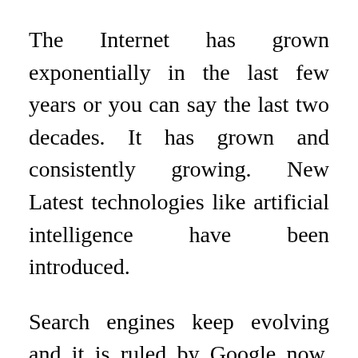The Internet has grown exponentially in the last few years or you can say the last two decades. It has grown and consistently growing. New Latest technologies like artificial intelligence have been introduced.
Search engines keep evolving and it is ruled by Google now. They have more than 91% share in the search engine industry. Even some old search engines not able to compete with Google and they are on the downfall.